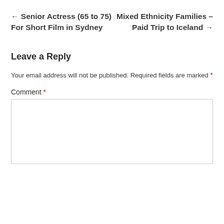← Senior Actress (65 to 75) For Short Film in Sydney
Mixed Ethnicity Families – Paid Trip to Iceland →
Leave a Reply
Your email address will not be published. Required fields are marked *
Comment *